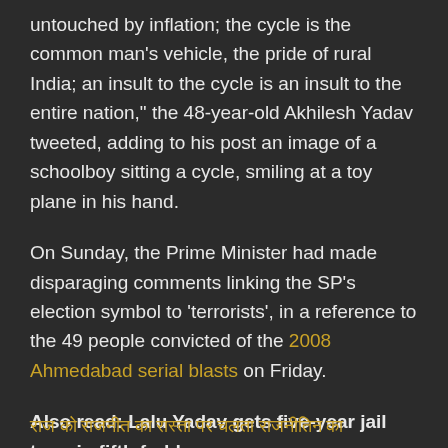untouched by inflation; the cycle is the common man's vehicle, the pride of rural India; an insult to the cycle is an insult to the entire nation," the 48-year-old Akhilesh Yadav tweeted, adding to his post an image of a schoolboy sitting a cycle, smiling at a toy plane in his hand.
On Sunday, the Prime Minister had made disparaging comments linking the SP's election symbol to 'terrorists', in a reference to the 49 people convicted of the 2008 Ahmedabad serial blasts on Friday.
Also read: Lalu Yadav gets five-year jail term in fifth fodder scam case
[Hindi text in gold at bottom]